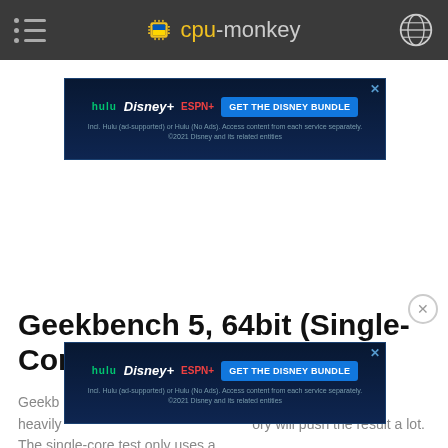cpu-monkey navigation bar
[Figure (screenshot): Disney Bundle advertisement banner (Hulu + Disney+ + ESPN+) with blue background and GET THE DISNEY BUNDLE button]
Geekbench 5, 64bit (Single-Core)
[Figure (screenshot): Second Disney Bundle advertisement banner (Hulu + Disney+ + ESPN+) overlapping body text]
Geekb... that heavily... ory will push the result a lot. The single-core test only uses a...